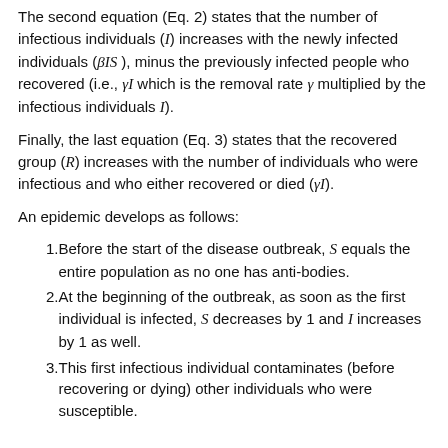The second equation (Eq. 2) states that the number of infectious individuals (I) increases with the newly infected individuals (βIS), minus the previously infected people who recovered (i.e., γI which is the removal rate γ multiplied by the infectious individuals I).
Finally, the last equation (Eq. 3) states that the recovered group (R) increases with the number of individuals who were infectious and who either recovered or died (γI).
An epidemic develops as follows:
Before the start of the disease outbreak, S equals the entire population as no one has anti-bodies.
At the beginning of the outbreak, as soon as the first individual is infected, S decreases by 1 and I increases by 1 as well.
This first infectious individual contaminates (before recovering or dying) other individuals who were susceptible.